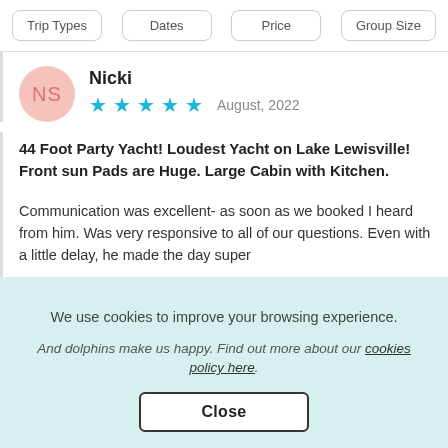Trip Types | Dates | Price | Group Size
Nicki
★★★★★ August, 2022
44 Foot Party Yacht! Loudest Yacht on Lake Lewisville! Front sun Pads are Huge. Large Cabin with Kitchen.
Communication was excellent- as soon as we booked I heard from him. Was very responsive to all of our questions. Even with a little delay, he made the day super
We use cookies to improve your browsing experience.
And dolphins make us happy. Find out more about our cookies policy here.
Close